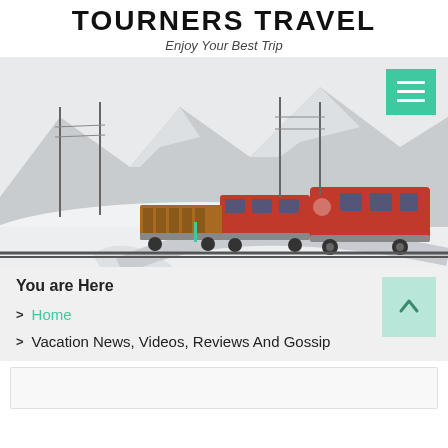TOURNERS TRAVEL
Enjoy Your Best Trip
[Figure (photo): A red train traveling through a snow-covered alpine landscape with mountains in the background. A green hamburger menu button is overlaid in the top-right corner.]
You are Here
> Home
> Vacation News, Videos, Reviews And Gossip